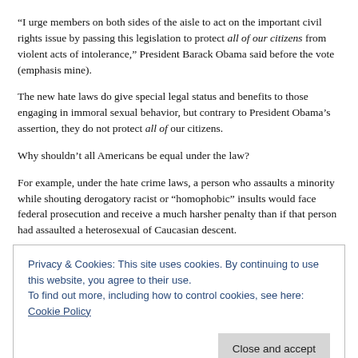“I urge members on both sides of the aisle to act on the important civil rights issue by passing this legislation to protect all of our citizens from violent acts of intolerance,” President Barack Obama said before the vote (emphasis mine).
The new hate laws do give special legal status and benefits to those engaging in immoral sexual behavior, but contrary to President Obama’s assertion, they do not protect all of our citizens.
Why shouldn’t all Americans be equal under the law?
For example, under the hate crime laws, a person who assaults a minority while shouting derogatory racist or “homophobic” insults would face federal prosecution and receive a much harsher penalty than if that person had assaulted a heterosexual of Caucasian descent.
Privacy & Cookies: This site uses cookies. By continuing to use this website, you agree to their use. To find out more, including how to control cookies, see here: Cookie Policy
Why are lawmakers so intent on passing legislation for homosexuals? America has numerous protections, rights and freedoms guaranteed to